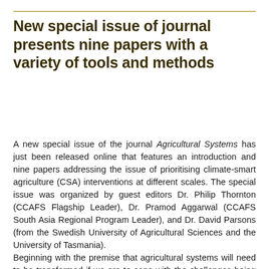New special issue of journal presents nine papers with a variety of tools and methods
A new special issue of the journal Agricultural Systems has just been released online that features an introduction and nine papers addressing the issue of prioritising climate-smart agriculture (CSA) interventions at different scales. The special issue was organized by guest editors Dr. Philip Thornton (CCAFS Flagship Leader), Dr. Pramod Aggarwal (CCAFS South Asia Regional Program Leader), and Dr. David Parsons (from the Swedish University of Agricultural Sciences and the University of Tasmania).
Beginning with the premise that agricultural systems will need to be transformed if we are to cope with the challenges being created by negative effects of climate change, the